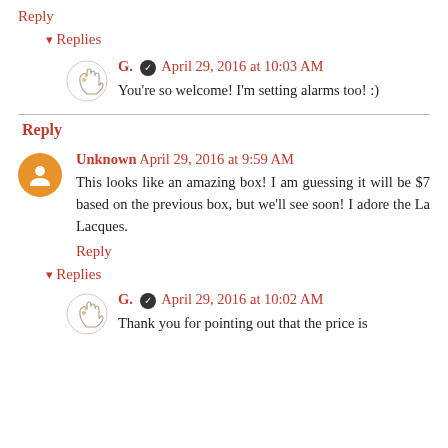Reply
▾ Replies
G. ✓ April 29, 2016 at 10:03 AM
You're so welcome! I'm setting alarms too! :)
Reply
Unknown April 29, 2016 at 9:59 AM
This looks like an amazing box! I am guessing it will be $7 based on the previous box, but we'll see soon! I adore the La Lacques.
Reply
▾ Replies
G. ✓ April 29, 2016 at 10:02 AM
Thank you for pointing out that the price is